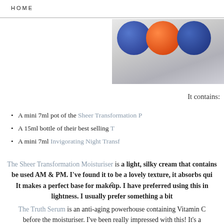HOME
[Figure (photo): Photo of cosmetic product lids/caps: two blue caps and one orange/red cap on a light surface]
It contains:
A mini 7ml pot of the Sheer Transformation P
A 15ml bottle of their best selling T
A mini 7ml Invigorating Night Transf
The Sheer Transformation Moisturiser is a light, silky cream that contains be used AM & PM. I've found it to be a lovely texture, it absorbs qui It makes a perfect base for makeup. I have preferred using this in lightness. I usually prefer something a bit
The Truth Serum is an anti-aging powerhouse containing Vitamin C before the moisturiser. I've been really impressed with this! It's a